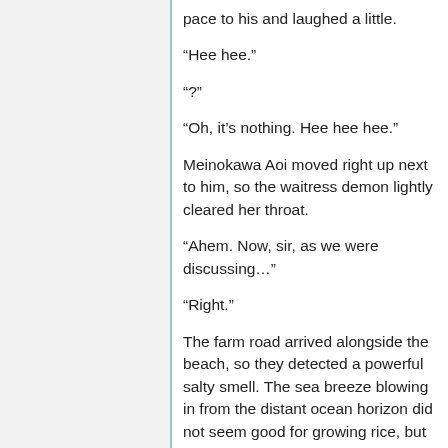pace to his and laughed a little.
“Hee hee.”
“?”
“Oh, it’s nothing. Hee hee hee.”
Meinokawa Aoi moved right up next to him, so the waitress demon lightly cleared her throat.
“Ahem. Now, sir, as we were discussing…”
“Right.”
The farm road arrived alongside the beach, so they detected a powerful salty smell. The sea breeze blowing in from the distant ocean horizon did not seem good for growing rice, but the locals might have thought that applying some stress to the crops caused them to grow more strongly.